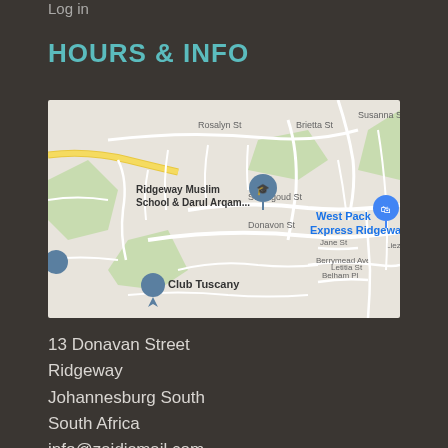Log in
HOURS & INFO
[Figure (map): Google Maps screenshot showing Ridgeway area in Johannesburg, South Africa. Shows streets including Rosalyn St, Brietta St, Susanna St, Swartgoud St, Donavon St, Jane St, Berrymead Ave, Belham Pl, Letitia St, Lieze. Landmarks include Ridgeway Muslim School & Darul Arqam, West Pack Express Ridgeway, Club Tuscany.]
13 Donavan Street
Ridgeway
Johannesburg South
South Africa
info@zaidismail.com